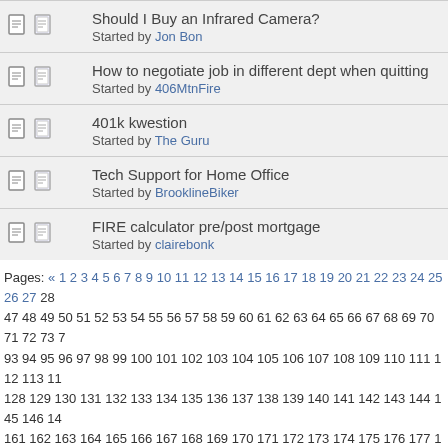Should I Buy an Infrared Camera? Started by Jon Bon
How to negotiate job in different dept when quitting Started by 406MtnFire
401k kwestion Started by The Guru
Tech Support for Home Office Started by BrooklineBiker
FIRE calculator pre/post mortgage Started by clairebonk
Pages: « 1 2 3 4 5 6 7 8 9 10 11 12 13 14 15 16 17 18 19 20 21 22 23 24 25 26 27 28 ... 47 48 49 50 51 52 53 54 55 56 57 58 59 60 61 62 63 64 65 66 67 68 69 70 71 72 73 7... 93 94 95 96 97 98 99 100 101 102 103 104 105 106 107 108 109 110 111 112 113 1... 128 129 130 131 132 133 134 135 136 137 138 139 140 141 142 143 144 145 146 14... 161 162 163 164 165 166 167 168 169 170 171 172 173 174 175 176 177 178 179 18... 194 195 196 197 198 199 200 201 202 203 204 205 206 207 208 209 210 211 212 21... 227 228 229 230 231 232 233 234 235 236 237 238 239 240 241 242 243 244 245 24... 260 261 262 263 264 265 266 267 268 269 270 271 272 273 274 275 276 277 278 27... 293 294 295 296 297 298 299 300 301 302 303 304 305 306 307 308 309 310 311 31... 326 327 328 329 330 331 332 333 334 335 336 337 338 339 340 341 342 343 344 34... 359 360 361 362 363 364 365 366 367 368 369 370 371 372 373 374 375 376 377 37... 392 393 394 395 396 397 398 399 400 401 402 403 404 405 406 407 408 409 410 41... 425 426 427 428 429 430 431 432 433 434 435 436 437 438 439 440 441 442 44...